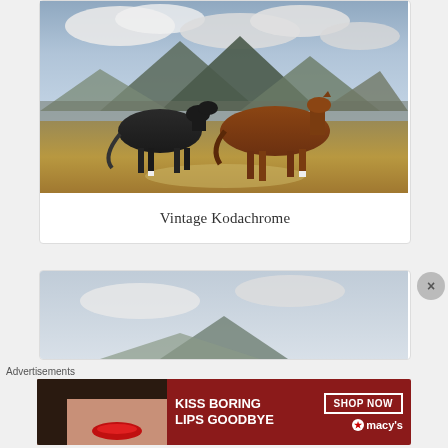[Figure (photo): Two wild horses (one dark/black, one brown/chestnut) standing in an open grassland with mountains and dramatic cloudy sky in the background]
Vintage Kodachrome
[Figure (photo): Partial view of a landscape photo with mountains and cloudy sky, partially cut off at the bottom of the page]
Advertisements
[Figure (photo): Advertisement banner: KISS BORING LIPS GOODBYE — SHOP NOW — macys (red background with woman's face showing red lips)]